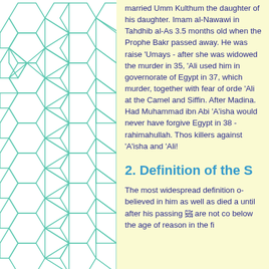[Figure (illustration): Islamic geometric tile pattern with teal/green pentagon and hexagon tessellation on white background]
married Umm Kulthum the daughter. Imam al-Nawawi in Tahdhib al-As: 3.5 months old when the Prophet Bakr passed away. He was raised 'Umays - after she was widowed the murder in 35, 'Ali used him in governorate of Egypt in 37, which murder, together with fear of order 'Ali at the Camel and Siffin. After Madina. Had Muhammad ibn Abi 'A'isha would never have forgive Egypt in 38 - rahimahullah. Those killers against 'A'isha and 'Ali!
2. Definition of the S
The most widespread definition o believed in him as well as died a until after his passing ﷺ are not co below the age of reason in the fi